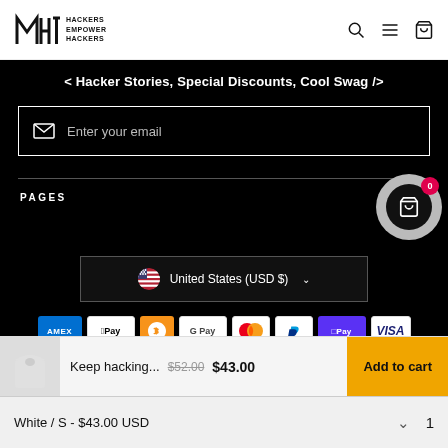MHT HACKERS EMPOWER HACKERS
< Hacker Stories, Special Discounts, Cool Swag />
Enter your email
PAGES
United States (USD $)
[Figure (screenshot): Payment method icons: American Express, Apple Pay, Bitcoin, Google Pay, Mastercard, PayPal, Shop Pay, Visa]
Keep hacking... $52.00 $43.00  Add to cart
White / S - $43.00 USD   1